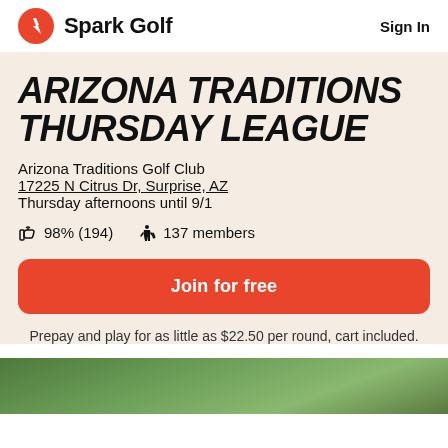Spark Golf   Sign In
ARIZONA TRADITIONS THURSDAY LEAGUE
Arizona Traditions Golf Club
17225 N Citrus Dr, Surprise, AZ
Thursday afternoons until 9/1
👍 98% (194)    🏌️ 137 members
Join for free
Prepay and play for as little as $22.50 per round, cart included.
[Figure (photo): Partial view of golf course greenery at bottom of page]